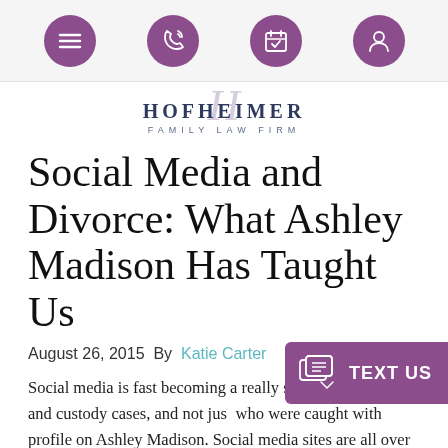Navigation bar with menu, phone, calendar, and profile icons
[Figure (logo): Hofheimer Family Law Firm logo with stylized H script and firm name]
Social Media and Divorce: What Ashley Madison Has Taught Us
August 26, 2015  By  Katie Carter
Social media is fast becoming a really serious issue in divorce and custody cases, and not just for those who were caught with profile on Ashley Madison. Social media sites are all over the place, and easily offer millions and millions of people the opportunity...